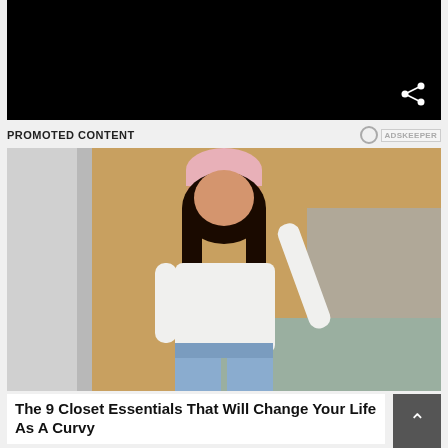[Figure (photo): Black rectangle representing a video player area with a share icon in the bottom right]
PROMOTED CONTENT
[Figure (photo): A plus-size woman wearing a pink beanie hat, white long-sleeve crop top, and light blue jeans, making a peace sign while posing in front of a stone wall with golden-hour lighting]
The 9 Closet Essentials That Will Change Your Life As A Curvy